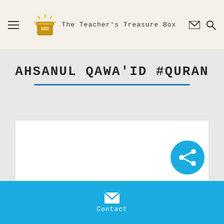The Teacher's Treasure Box
AHSANUL QAWA'ID #QURAN
[Figure (other): White content placeholder box with a share button overlay in the bottom right corner]
Contact